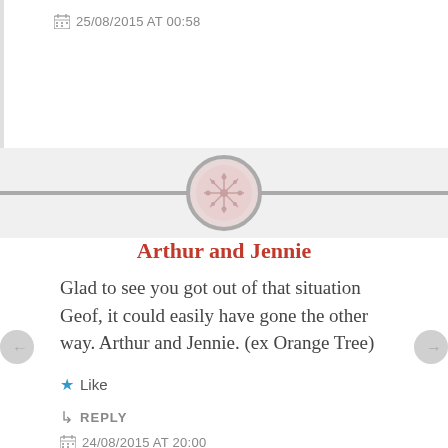25/08/2015 AT 00:58
[Figure (illustration): Decorative avatar circle with floral/snowflake pattern on a grey horizontal divider bar]
Arthur and Jennie
Glad to see you got out of that situation Geof, it could easily have gone the other way. Arthur and Jennie. (ex Orange Tree)
★ Like
↳ REPLY
24/08/2015 AT 20:00